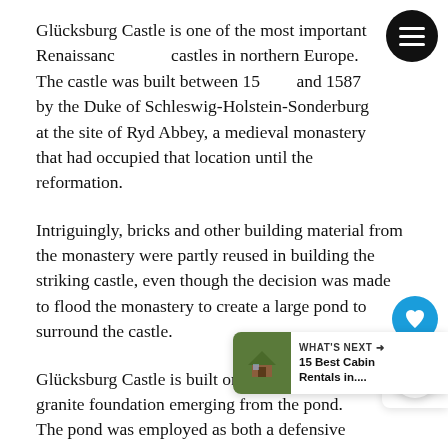Glücksburg Castle is one of the most important Renaissance castles in northern Europe. The castle was built between 15[?] and 1587 by the Duke of Schleswig-Holstein-Sonderburg at the site of Ryd Abbey, a medieval monastery that had occupied that location until the reformation.
Intriguingly, bricks and other building material from the monastery were partly reused in building the striking castle, even though the decision was made to flood the monastery to create a large pond to surround the castle.
Glücksburg Castle is built on 2.5 meters of granite foundation emerging from the pond. The pond was employed as both a defensive structure for its habitants and as fishing groun d-
In the 20th century, the formal gardens were remodeled into